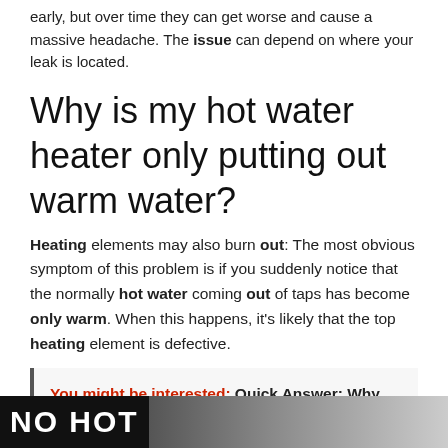early, but over time they can get worse and cause a massive headache. The issue can depend on where your leak is located.
Why is my hot water heater only putting out warm water?
Heating elements may also burn out: The most obvious symptom of this problem is if you suddenly notice that the normally hot water coming out of taps has become only warm. When this happens, it's likely that the top heating element is defective.
You might be interested:  Quick Answer: Why do i have recurring dreams?
[Figure (photo): Bottom strip showing partial text 'NO HOT' in large white bold letters on dark background, with partial images of people on the right side]